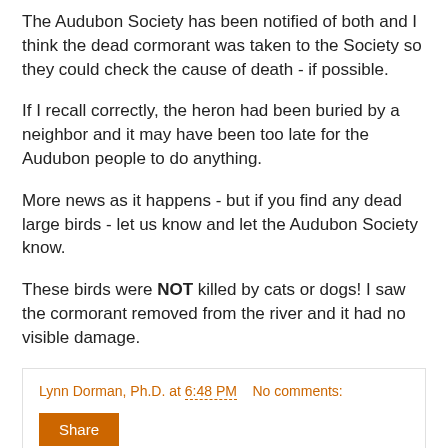The Audubon Society has been notified of both and I think the dead cormorant was taken to the Society so they could check the cause of death - if possible.
If I recall correctly, the heron had been buried by a neighbor and it may have been too late for the Audubon people to do anything.
More news as it happens - but if you find any dead large birds - let us know and let the Audubon Society know.
These birds were NOT killed by cats or dogs! I saw the cormorant removed from the river and it had no visible damage.
Lynn Dorman, Ph.D. at 6:48 PM    No comments:
Share
Response to my letter to the DD